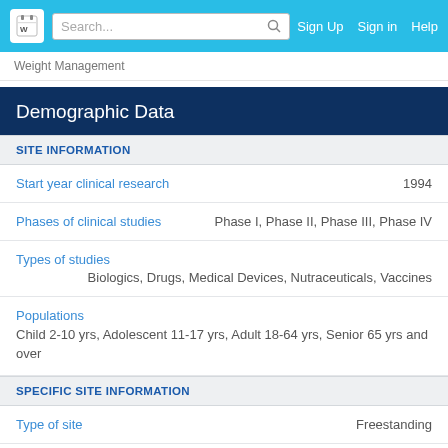Search... Sign Up Sign in Help
Weight Management
Demographic Data
SITE INFORMATION
| Field | Value |
| --- | --- |
| Start year clinical research | 1994 |
| Phases of clinical studies | Phase I, Phase II, Phase III, Phase IV |
| Types of studies | Biologics, Drugs, Medical Devices, Nutraceuticals, Vaccines |
| Populations | Child 2-10 yrs, Adolescent 11-17 yrs, Adult 18-64 yrs, Senior 65 yrs and over |
SPECIFIC SITE INFORMATION
| Field | Value |
| --- | --- |
| Type of site | Freestanding |